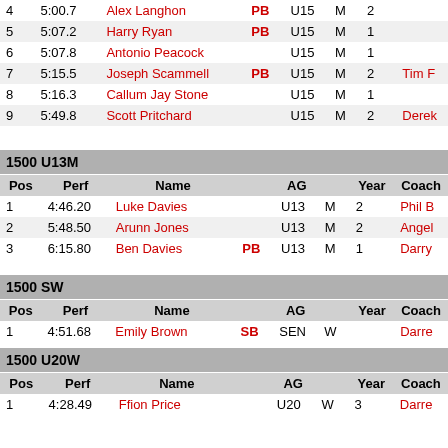| Pos | Perf | Name |  | AG |  | Year | Coach |
| --- | --- | --- | --- | --- | --- | --- | --- |
| 4 | 5:00.7 | Alex Langhon | PB | U15 | M | 2 |  |
| 5 | 5:07.2 | Harry Ryan | PB | U15 | M | 1 |  |
| 6 | 5:07.8 | Antonio Peacock |  | U15 | M | 1 |  |
| 7 | 5:15.5 | Joseph Scammell | PB | U15 | M | 2 | Tim F |
| 8 | 5:16.3 | Callum Jay Stone |  | U15 | M | 1 |  |
| 9 | 5:49.8 | Scott Pritchard |  | U15 | M | 2 | Derek |
1500 U13M
| Pos | Perf | Name |  | AG |  | Year | Coach |
| --- | --- | --- | --- | --- | --- | --- | --- |
| 1 | 4:46.20 | Luke Davies |  | U13 | M | 2 | Phil B |
| 2 | 5:48.50 | Arunn Jones |  | U13 | M | 2 | Angel |
| 3 | 6:15.80 | Ben Davies | PB | U13 | M | 1 | Darry |
1500 SW
| Pos | Perf | Name |  | AG |  | Year | Coach |
| --- | --- | --- | --- | --- | --- | --- | --- |
| 1 | 4:51.68 | Emily Brown | SB | SEN | W |  | Darre |
1500 U20W
| Pos | Perf | Name |  | AG |  | Year | Coach |
| --- | --- | --- | --- | --- | --- | --- | --- |
| 1 | 4:28.49 | Ffion Price |  | U20 | W | 3 | Darre |
| 2 | 4:45.56 | Rhianwedd Price |  | U20 | W | 3 |  |
| 3 | 5:01.88 | Malika Rezougui | SB | U20 | W | 1 | Phil B |
| 4 | 5:03.60 | Rebecca Evans |  | U20 | W | 1 | Tony |
| 5 | 5:04.18 | Hiedi Redwood |  | U20 | W | 1 | Jason |
1500 U17W
| Pos | Perf | Name |  | AG |  | Year | Coach |
| --- | --- | --- | --- | --- | --- | --- | --- |
| 1 | 4:53.66 | Kate Seary |  | U17 | W | 2 | Phil B |